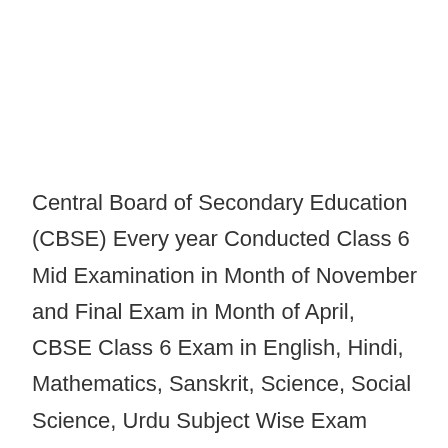Central Board of Secondary Education (CBSE) Every year Conducted Class 6 Mid Examination in Month of November and Final Exam in Month of April, CBSE Class 6 Exam in English, Hindi, Mathematics, Sanskrit, Science, Social Science, Urdu Subject Wise Exam Conducted in CBSE, CBSE Solutions for Class 6 is Available for Download in PDF